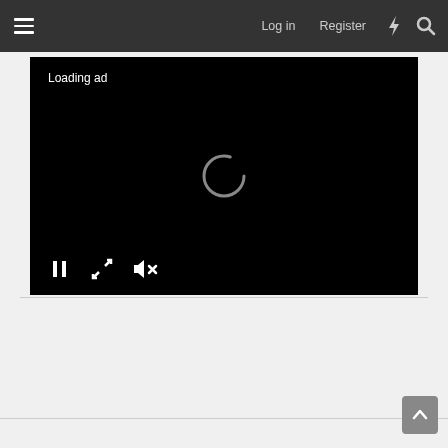≡  Log in  Register  ⚡  🔍
[Figure (screenshot): Video player with black background showing 'Loading ad' text, a spinning loader in the center, and playback controls (pause, expand, mute) at the bottom left]